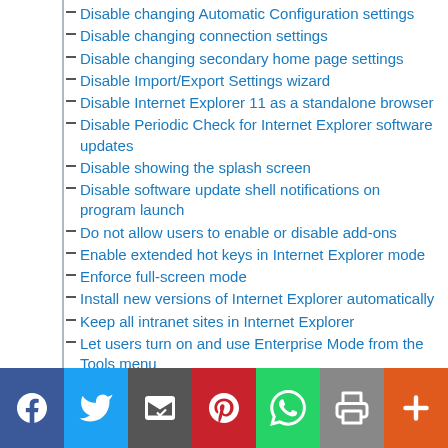Disable changing Automatic Configuration settings
Disable changing connection settings
Disable changing secondary home page settings
Disable Import/Export Settings wizard
Disable Internet Explorer 11 as a standalone browser
Disable Periodic Check for Internet Explorer software updates
Disable showing the splash screen
Disable software update shell notifications on program launch
Do not allow users to enable or disable add-ons
Enable extended hot keys in Internet Explorer mode
Enforce full-screen mode
Install new versions of Internet Explorer automatically
Keep all intranet sites in Internet Explorer
Let users turn on and use Enterprise Mode from the Tools menu
Limit Site Discovery output by Domain
Limit Site Discovery output by Zone